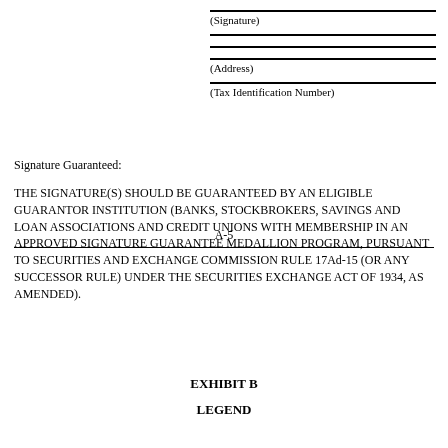(Signature)
(Address)
(Tax Identification Number)
Signature Guaranteed:
THE SIGNATURE(S) SHOULD BE GUARANTEED BY AN ELIGIBLE GUARANTOR INSTITUTION (BANKS, STOCKBROKERS, SAVINGS AND LOAN ASSOCIATIONS AND CREDIT UNIONS WITH MEMBERSHIP IN AN APPROVED SIGNATURE GUARANTEE MEDALLION PROGRAM, PURSUANT TO SECURITIES AND EXCHANGE COMMISSION RULE 17Ad-15 (OR ANY SUCCESSOR RULE) UNDER THE SECURITIES EXCHANGE ACT OF 1934, AS AMENDED).
A-5
EXHIBIT B
LEGEND